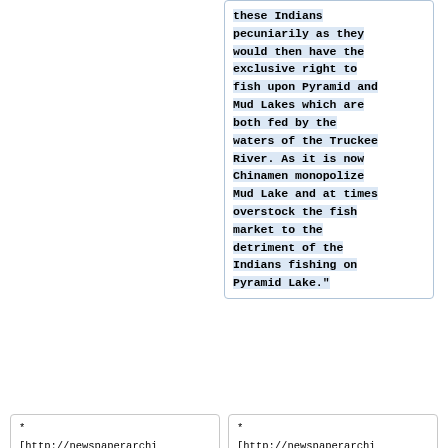these Indians pecuniarily as they would then have the exclusive right to fish upon Pyramid and Mud Lakes which are both fed by the waters of the Truckee River. As it is now Chinamen monopolize Mud Lake and at times overstock the fish market to the detriment of the Indians fishing on Pyramid Lake."
* [http://newspaperarchive.com/us/nevada/reno/weekly-nevada-state-journal/1887/11-
* [http://newspaperarchive.com/us/nevada/reno/weekly-nevada-state-journal/1887/11-